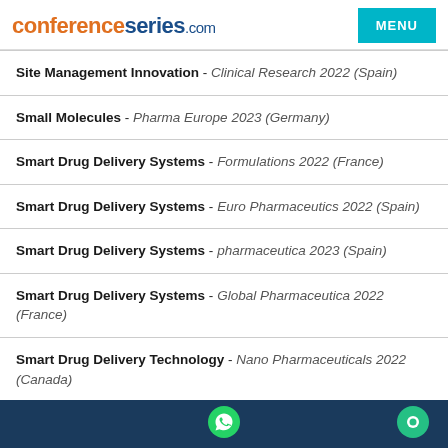conferenceseries.com | MENU
Site Management Innovation - Clinical Research 2022 (Spain)
Small Molecules - Pharma Europe 2023 (Germany)
Smart Drug Delivery Systems - Formulations 2022 (France)
Smart Drug Delivery Systems - Euro Pharmaceutics 2022 (Spain)
Smart Drug Delivery Systems - pharmaceutica 2023 (Spain)
Smart Drug Delivery Systems - Global Pharmaceutica 2022 (France)
Smart Drug Delivery Technology - Nano Pharmaceuticals 2022 (Canada)
WhatsApp chat button | Chat button